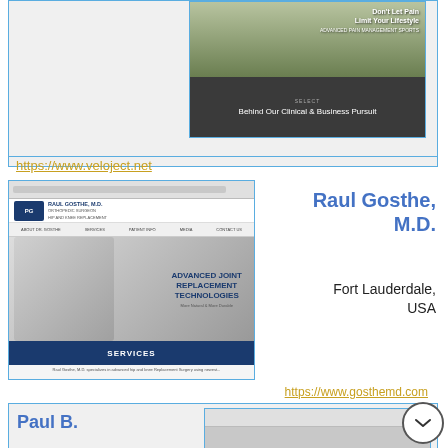[Figure (screenshot): Screenshot of Veloject website showing two people hiking and text 'Don't Let Pain Limit Your Lifestyle' and 'Behind Our Clinical & Business Pursuit']
https://www.veloject.net
[Figure (screenshot): Screenshot of Raul Gosthe M.D. website showing advanced joint replacement technologies with knee joint image and services bar]
Raul Gosthe, M.D.
Fort Lauderdale, USA
https://www.gosthemd.com
Paul B.
[Figure (screenshot): Partial screenshot of another medical professional's website]